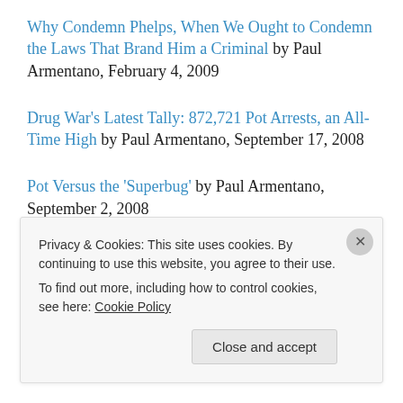Why Condemn Phelps, When We Ought to Condemn the Laws That Brand Him a Criminal by Paul Armentano, February 4, 2009
Drug War's Latest Tally: 872,721 Pot Arrests, an All-Time High by Paul Armentano, September 17, 2008
Pot Versus the 'Superbug' by Paul Armentano, September 2, 2008
So Where Did All The Ditchweed Go? by Paul
Privacy & Cookies: This site uses cookies. By continuing to use this website, you agree to their use. To find out more, including how to control cookies, see here: Cookie Policy